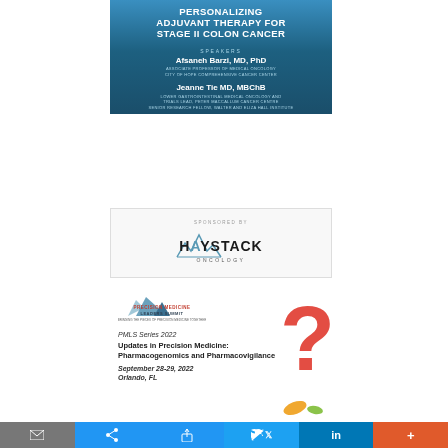PERSONALIZING ADJUVANT THERAPY FOR STAGE II COLON CANCER
SPEAKERS
Afsaneh Barzi, MD, PhD
ASSOCIATE PROFESSOR OF MEDICAL ONCOLOGY CITY OF HOPE COMPREHENSIVE CANCER CENTER
Jeanne Tie MD, MBChB
LOWER GASTROINTESTINAL MEDICAL ONCOLOGY AND TRIALS LEAD, PETER MACCALLUM CANCER CENTRE SENIOR RESEARCH FELLOW, WALTER AND ELIZA HALL INSTITUTE
SPONSORED BY
[Figure (logo): Haystack Oncology logo]
[Figure (logo): Precision Medicine Leaders Summit logo]
PMLS Series 2022
Updates in Precision Medicine: Pharmacogenomics and Pharmacovigilance
September 28-29, 2022 Orlando, FL
[Figure (illustration): Red question mark with medicine pills illustration]
Email | Share | Print | Twitter | LinkedIn | +